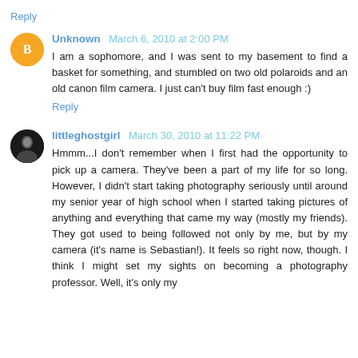Reply
Unknown  March 6, 2010 at 2:00 PM
I am a sophomore, and I was sent to my basement to find a basket for something, and stumbled on two old polaroids and an old canon film camera. I just can't buy film fast enough :)
Reply
littleghostgirl  March 30, 2010 at 11:22 PM
Hmmm...I don't remember when I first had the opportunity to pick up a camera. They've been a part of my life for so long. However, I didn't start taking photography seriously until around my senior year of high school when I started taking pictures of anything and everything that came my way (mostly my friends). They got used to being followed not only by me, but by my camera (it's name is Sebastian!). It feels so right now, though. I think I might set my sights on becoming a photography professor. Well, it's only my...